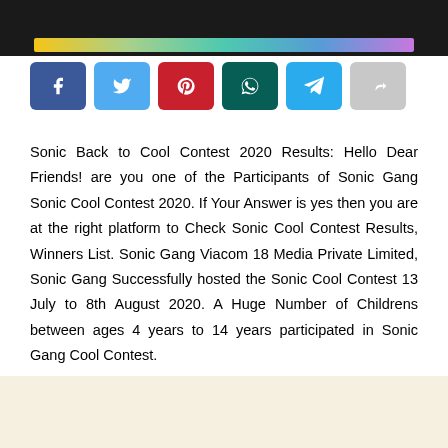[Figure (screenshot): Top dark banner strip with colored bar inside]
[Figure (infographic): Row of six social share buttons: Facebook (blue), Twitter (light blue), Pinterest (red), WhatsApp (dark green), Telegram (blue), Share/forward (gray)]
Sonic Back to Cool Contest 2020 Results: Hello Dear Friends! are you one of the Participants of Sonic Gang Sonic Cool Contest 2020. If Your Answer is yes then you are at the right platform to Check Sonic Cool Contest Results, Winners List. Sonic Gang Viacom 18 Media Private Limited, Sonic Gang Successfully hosted the Sonic Cool Contest 13 July to 8th August 2020. A Huge Number of Childrens between ages 4 years to 14 years participated in Sonic Gang Cool Contest.